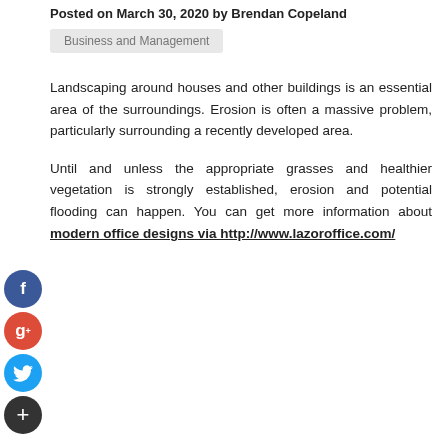Posted on March 30, 2020 by Brendan Copeland
Business and Management
Landscaping around houses and other buildings is an essential area of the surroundings. Erosion is often a massive problem, particularly surrounding a recently developed area.
Until and unless the appropriate grasses and healthier vegetation is strongly established, erosion and potential flooding can happen. You can get more information about modern office designs via http://www.lazoroffice.com/